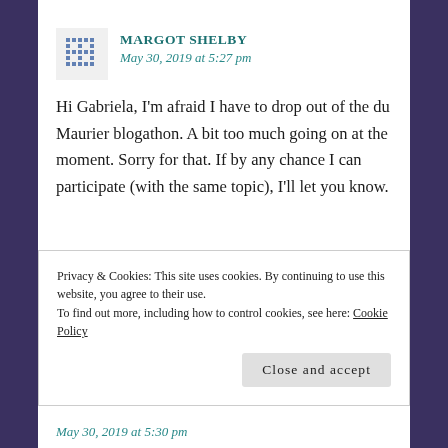MARGOT SHELBY
May 30, 2019 at 5:27 pm
Hi Gabriela, I'm afraid I have to drop out of the du Maurier blogathon. A bit too much going on at the moment. Sorry for that. If by any chance I can participate (with the same topic), I'll let you know.
Privacy & Cookies: This site uses cookies. By continuing to use this website, you agree to their use.
To find out more, including how to control cookies, see here: Cookie Policy
Close and accept
May 30, 2019 at 5:30 pm